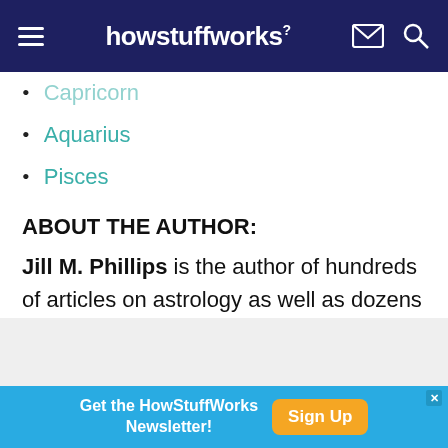howstuffworks
Capricorn
Aquarius
Pisces
ABOUT THE AUTHOR:
Jill M. Phillips is the author of hundreds of articles on astrology as well as dozens of books. She has regularly written forecast columns for Astrology: Your Daily Horoscope.
[Figure (screenshot): Gray section partially visible at bottom of page]
Get the HowStuffWorks Newsletter! Sign Up